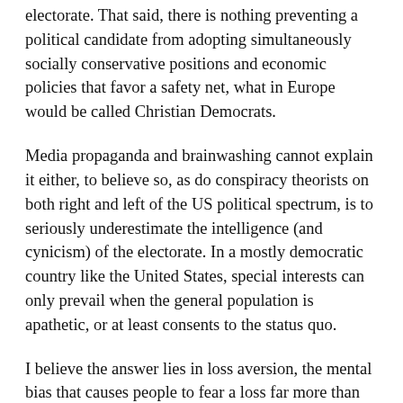electorate. That said, there is nothing preventing a political candidate from adopting simultaneously socially conservative positions and economic policies that favor a safety net, what in Europe would be called Christian Democrats.
Media propaganda and brainwashing cannot explain it either, to believe so, as do conspiracy theorists on both right and left of the US political spectrum, is to seriously underestimate the intelligence (and cynicism) of the electorate. In a mostly democratic country like the United States, special interests can only prevail when the general population is apathetic, or at least consents to the status quo.
I believe the answer lies in loss aversion, the mental bias that causes people to fear a loss far more than they desire a gain. Our brains did not evolve in a way that favors strict rationality. Most people's intuition about probability and statistics is unreliable and misleading—we tend to overestimate the frequency of rare events. The middle class, which holds a majority of votes, will tend to oppose measures that expose it to the risk of being pulled down by lower classes even if the same measures would allow them upward